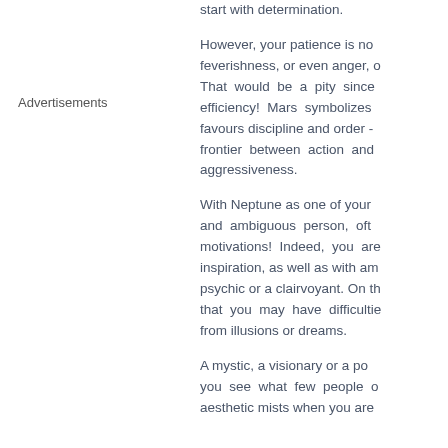start with determination.
Advertisements
However, your patience is no... feverishness, or even anger, o... That would be a pity since efficiency! Mars symbolizes favours discipline and order - frontier between action and aggressiveness.
With Neptune as one of your and ambiguous person, oft motivations! Indeed, you are inspiration, as well as with am psychic or a clairvoyant. On th that you may have difficultie from illusions or dreams.
A mystic, a visionary or a po you see what few people o aesthetic mists when you are